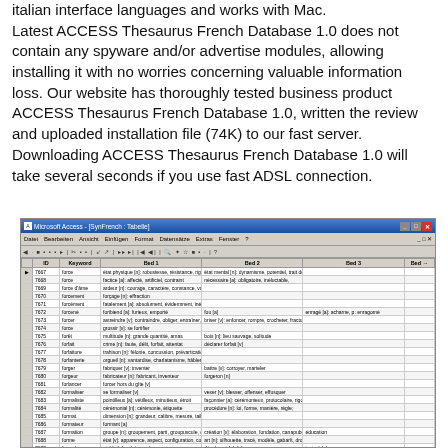italian interface languages and works with Mac. Latest ACCESS Thesaurus French Database 1.0 does not contain any spyware and/or advertise modules, allowing installing it with no worries concerning valuable information loss. Our website has thoroughly tested business product ACCESS Thesaurus French Database 1.0, written the review and uploaded installation file (74K) to our fast server. Downloading ACCESS Thesaurus French Database 1.0 will take several seconds if you use fast ADSL connection.
[Figure (screenshot): Microsoft Access window showing SynFrench table with columns ID, Keyword, Bed 1, Bed 2, Bed 3, Bed 4 and rows of French thesaurus data starting from ID 7667 (force) through 7698]